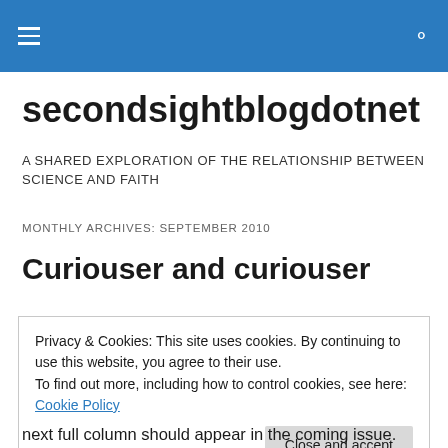secondsightblogdotnet — navigation header with hamburger menu and search icon
secondsightblogdotnet
A SHARED EXPLORATION OF THE RELATIONSHIP BETWEEN SCIENCE AND FAITH
MONTHLY ARCHIVES: SEPTEMBER 2010
Curiouser and curiouser
Privacy & Cookies: This site uses cookies. By continuing to use this website, you agree to their use.
To find out more, including how to control cookies, see here: Cookie Policy
Close and accept
next full column should appear in the coming issue.